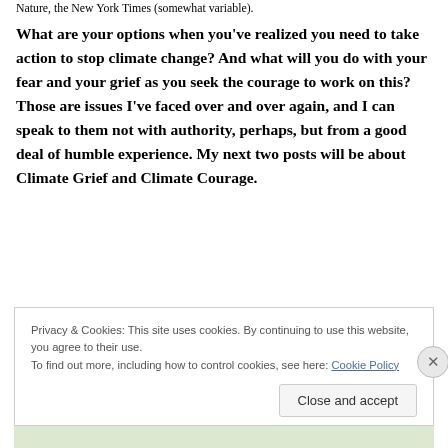Nature, the New York Times (somewhat variable).
What are your options when you've realized you need to take action to stop climate change? And what will you do with your fear and your grief as you seek the courage to work on this? Those are issues I've faced over and over again, and I can speak to them not with authority, perhaps, but from a good deal of humble experience. My next two posts will be about Climate Grief and Climate Courage.
Privacy & Cookies: This site uses cookies. By continuing to use this website, you agree to their use.
To find out more, including how to control cookies, see here: Cookie Policy
Close and accept